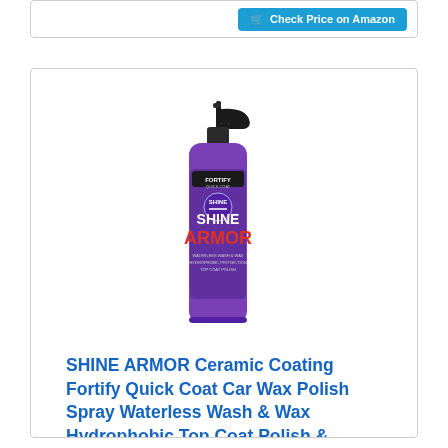Check Price on Amazon
[Figure (photo): SHINE ARMOR ceramic coating fortify quick coat spray bottle — purple bottle with black trigger sprayer, showing FORTIFY SHINE COAT and SHINE ARMOR ARMOR branding on the label]
SHINE ARMOR Ceramic Coating Fortify Quick Coat Car Wax Polish Spray Waterless Wash & Wax Hydrophobic Top Coat Polish & Polymer